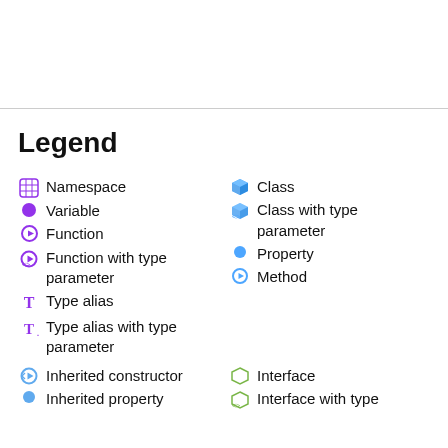Legend
Namespace
Variable
Function
Function with type parameter
Type alias
Type alias with type parameter
Class
Class with type parameter
Property
Method
Inherited constructor
Inherited property
Interface
Interface with type